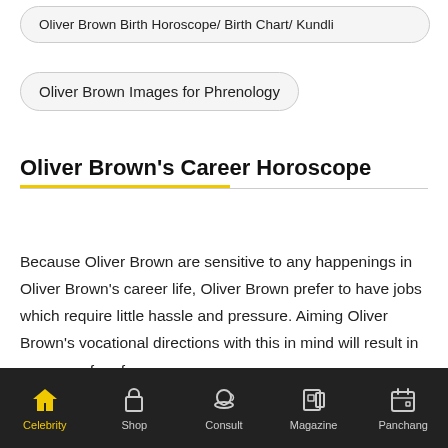Oliver Brown Birth Horoscope/ Birth Chart/ Kundli
Oliver Brown Images for Phrenology
Oliver Brown's Career Horoscope
Because Oliver Brown are sensitive to any happenings in Oliver Brown's career life, Oliver Brown prefer to have jobs which require little hassle and pressure. Aiming Oliver Brown's vocational directions with this in mind will result in a career of performance.
Celebrity  Shop  Consult  Magazine  Panchang